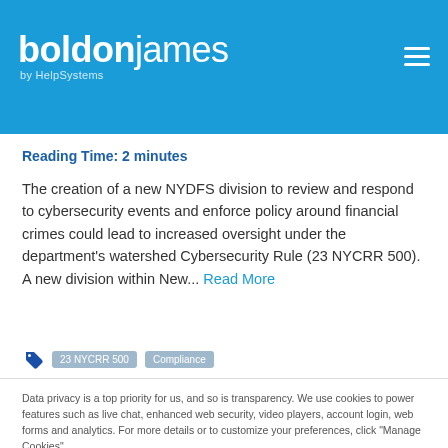boldon james by HelpSystems
Reading Time: 2 minutes
The creation of a new NYDFS division to review and respond to cybersecurity events and enforce policy around financial crimes could lead to increased oversight under the department's watershed Cybersecurity Rule (23 NYCRR 500). A new division within New... Read More
[Figure (other): Tag icon with pill labels: 23 NYCRR 500, Compliance]
Data privacy is a top priority for us, and so is transparency. We use cookies to power features such as live chat, enhanced web security, video players, account login, web forms and analytics. For more details or to customize your preferences, click "Manage Cookies".
Accept & Continue  Manage Cookies